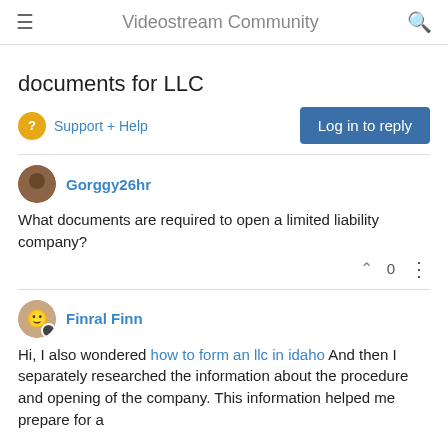Videostream Community
documents for LLC
Support + Help
Log in to reply
Gorggy26hr
What documents are required to open a limited liability company?
0
Finral Finn
Hi, I also wondered how to form an llc in idaho And then I separately researched the information about the procedure and opening of the company. This information helped me prepare for a